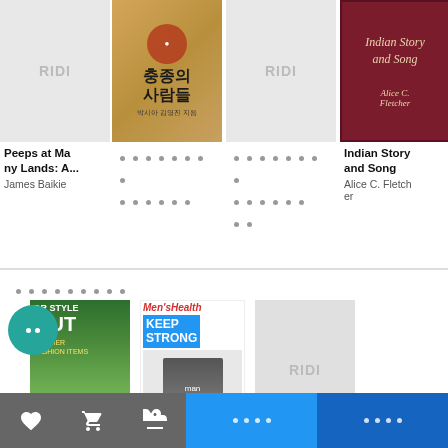[Figure (screenshot): Book listing app showing book covers and titles in a grid. First book: 'Peeps at Many Lands: A...' by James Baikie with gray placeholder cover. Second book: Korean book with ornate cover. Third and fourth entries: Korean text with dot placeholders. Fifth: 'Indian Story and Song' by Alice C. Fletcher with dark red cover. Sixth: 'The G...ns' by Irving B... with blue cover. Bottom section shows magazine covers including 'OUTDOOR STYLE OUT', 'Men's Health KEEP STRONG', and a RIDI placeholder. Navigation bar at bottom with heart, cart, gift icons and blue buttons.]